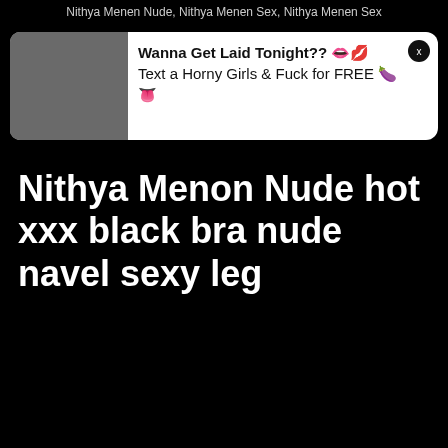Nithya Menen Nude, Nithya Menen Sex, Nithya Menen Sex
[Figure (screenshot): Advertisement banner with image placeholder on left and text on right reading: Wanna Get Laid Tonight?? Text a Horny Girls & Fuck for FREE, with close button]
Nithya Menon Nude hot xxx black bra nude navel sexy leg